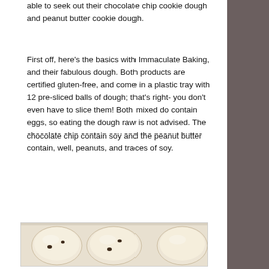able to seek out their chocolate chip cookie dough and peanut butter cookie dough.
First off, here's the basics with Immaculate Baking, and their fabulous dough. Both products are certified gluten-free, and come in a plastic tray with 12 pre-sliced balls of dough; that's right- you don't even have to slice them! Both mixed do contain eggs, so eating the dough raw is not advised. The chocolate chip contain soy and the peanut butter contain, well, peanuts, and traces of soy.
[Figure (photo): Close-up photo of cookie dough balls in a plastic tray, showing pre-sliced round balls of dough with chocolate chips visible.]